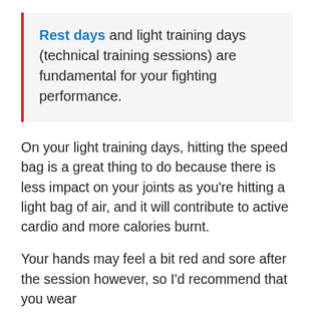Rest days and light training days (technical training sessions) are fundamental for your fighting performance.
On your light training days, hitting the speed bag is a great thing to do because there is less impact on your joints as you’re hitting a light bag of air, and it will contribute to active cardio and more calories burnt.
Your hands may feel a bit red and sore after the session however, so I’d recommend that you wear